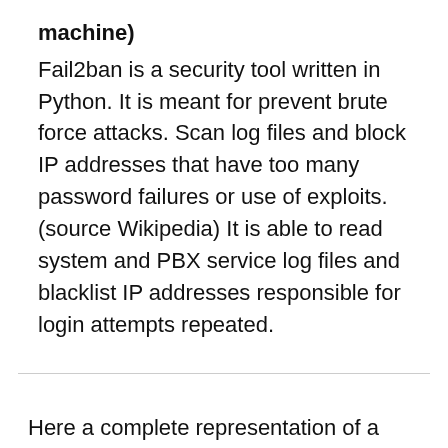machine)
Fail2ban is a security tool written in Python. It is meant for prevent brute force attacks. Scan log files and block IP addresses that have too many password failures or use of exploits. (source Wikipedia) It is able to read system and PBX service log files and blacklist IP addresses responsible for login attempts repeated.
Here a complete representation of a VoIP call